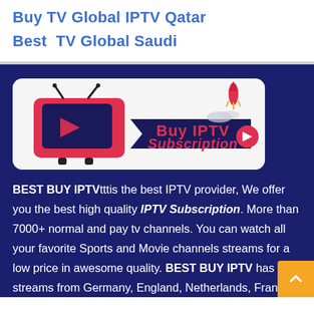Buy TV Global IPTV Qatar
Best  TV Global Saudi
[Figure (illustration): Buy IPTV Subscription banner with a red retro TV, rocket, and bold red text on white/dark background]
BEST BUY IPTVtttis the best IPTV provider, We offer you the best high quality IPTV Subscription. More than 7000+ normal and pay tv channels. You can watch all your favorite Sports and Movie channels streams for a low price in awesome quality. BEST BUY IPTV has streams from Germany, England, Netherlands, France,